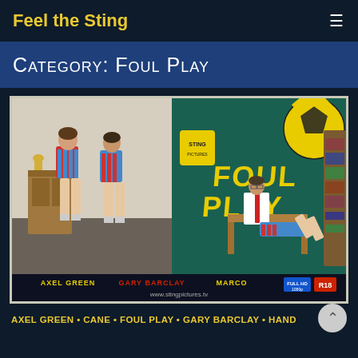Feel the Sting
Category: Foul Play
[Figure (photo): Movie poster for 'Foul Play' by Sting Pictures featuring Axel Green, Gary Barclay, and Marco. Left side shows two young men in striped rugby shirts bent over a wooden cabinet. Right side shows yellow grunge-text 'FOUL PLAY' on teal background with a soccer ball, and a man in white shirt and tie spanking a youth over his knee. Bottom text: AXEL GREEN  GARY BARCLAY  MARCO and www.stingpictures.tv. Full HD and R18 badges in bottom right.]
AXEL GREEN • CANE • FOUL PLAY • GARY BARCLAY • HAND